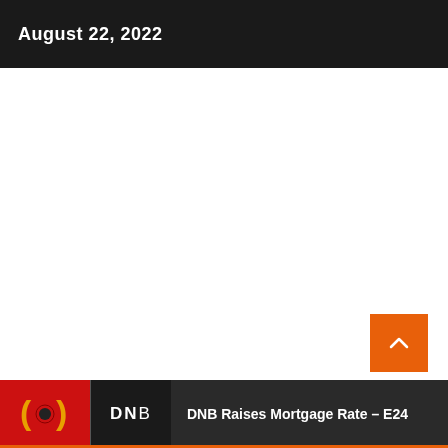August 22, 2022
[Figure (other): White content area (article body area, blank/scrolled out of view)]
DNB Raises Mortgage Rate – E24